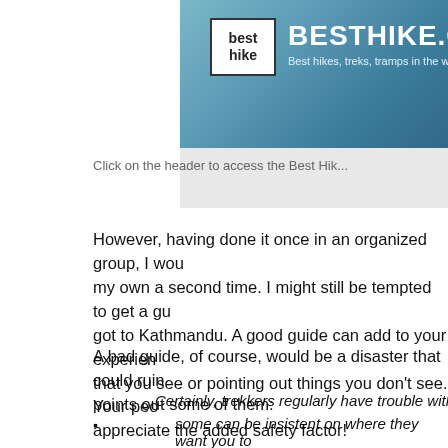[Figure (logo): BestHike.com website banner with mountain background, logo box with 'best hike' text and site name BESTHIKE.COM with tagline 'Best hikes, treks, tramps in the world.']
Click on the header to access the Best Hik...
However, having done it once in an organized group, I would... my own a second time. I might still be tempted to get a gu... got to Kathmandu. A good guide can add to your experien... that you see or pointing out things you don't see. Your peo... appreciate the added safety factor!
A bad guide, of course, would be a disaster that could ruin... points out some of them:
Certainly, trekkers regularly have trouble with guides...
some can be insistent on where they want you to... sometimes leads to conflict.